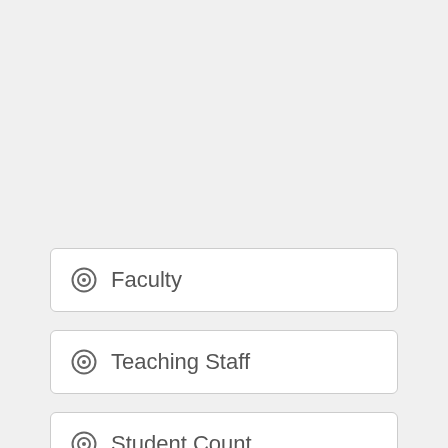Faculty
Teaching Staff
Student Count